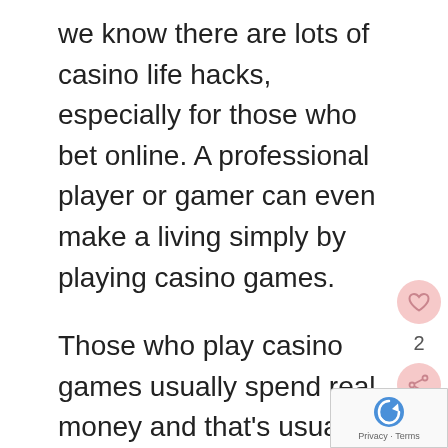we know there are lots of casino life hacks, especially for those who bet online. A professional player or gamer can even make a living simply by playing casino games.
Those who play casino games usually spend real money and that's usually not viewed as a good investment or responsible spending. The casino win rate for jackpots is extremely low which is why playing is often confused with foolish optimism. However, playing casino games with high RTP gives players a good chance of winning something and there are other casino features like bonuses that you can use to your advantage. A perfect example is no wagering casinos t…